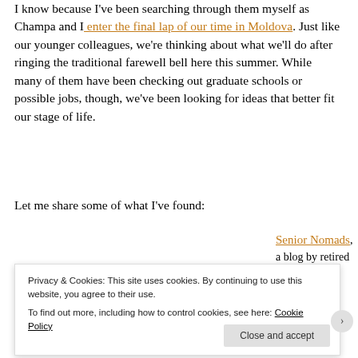I know because I've been searching through them myself as Champa and I enter the final lap of our time in Moldova. Just like our younger colleagues, we're thinking about what we'll do after ringing the traditional farewell bell here this summer. While many of them have been checking out graduate schools or possible jobs, though, we've been looking for ideas that better fit our stage of life.
Let me share some of what I've found:
[Figure (screenshot): Screenshot of The Senior Nomads website with a navigation bar and a street scene photo]
Senior Nomads, a blog by retired
Privacy & Cookies: This site uses cookies. By continuing to use this website, you agree to their use. To find out more, including how to control cookies, see here: Cookie Policy